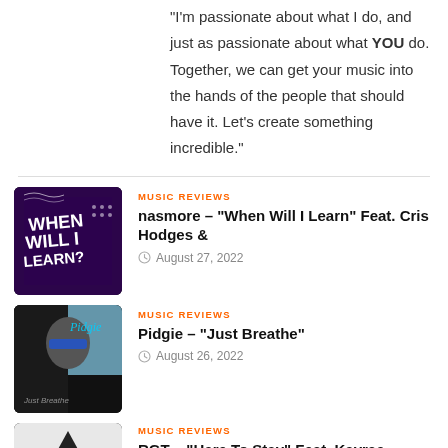"I'm passionate about what I do, and just as passionate about what YOU do. Together, we can get your music into the hands of the people that should have it. Let's create something incredible."
[Figure (illustration): Music review card image for nasmore 'When Will I Learn' - dark purple background with text overlay]
MUSIC REVIEWS
nasmore – "When Will I Learn" Feat. Cris Hodges &
August 27, 2022
[Figure (illustration): Music review card image for Pidgie 'Just Breathe' - monochrome photo with text]
MUSIC REVIEWS
Pidgie – "Just Breathe"
August 26, 2022
[Figure (illustration): Music review card image for RGT 'Here To Stay' Feat. Kayrae - triangle shape against light background]
MUSIC REVIEWS
RGT – "Here To Stay" Feat. Kayrae